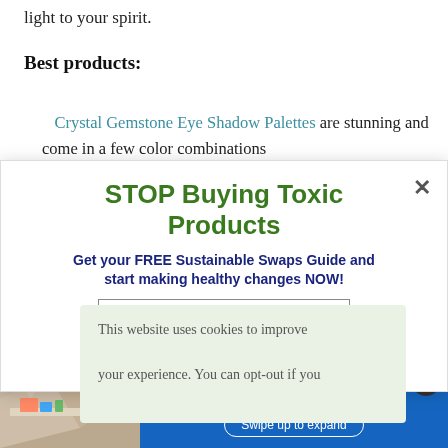light to your spirit.
Best products:
Crystal Gemstone Eye Shadow Palettes are stunning and come in a few color combinations
[Figure (screenshot): Popup modal overlay with green bold heading 'STOP Buying Toxic Products', dark blue subheading 'Get your FREE Sustainable Swaps Guide and start making healthy changes NOW!', email and first name input fields, and a close X button in top right.]
[Figure (screenshot): Cookie consent banner on light green background reading 'This website uses cookies to improve your experience. You can opt-out if you' with a 'More...' link.]
[Figure (screenshot): Bottom advertisement banner in blue with text 'Double major in style & savings' and a 'Swipe up to expand' button, with a desk/study room image on the left and two small circular icons (green P and dark X) on the right.]